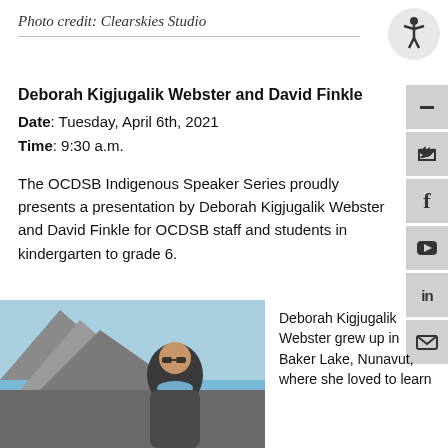Photo credit: Clearskies Studio
Deborah Kigjugalik Webster and David Finkle
Date: Tuesday, April 6th, 2021
Time: 9:30 a.m.
The OCDSB Indigenous Speaker Series proudly presents a presentation by Deborah Kigjugalik Webster and David Finkle for OCDSB staff and students in kindergarten to grade 6.
[Figure (photo): Photo of Deborah Kigjugalik Webster outdoors with mountains and blue sky in background, wearing sunglasses and a blue scarf]
Deborah Kigjugalik Webster grew up in Baker Lake, Nunavut, where she loved to learn